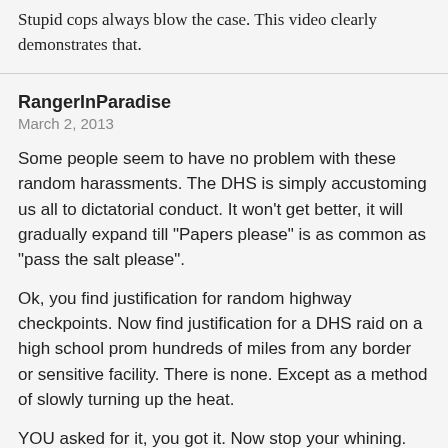Stupid cops always blow the case. This video clearly demonstrates that.
RangerInParadise
March 2, 2013
Some people seem to have no problem with these random harassments. The DHS is simply accustoming us all to dictatorial conduct. It won't get better, it will gradually expand till "Papers please" is as common as "pass the salt please".
Ok, you find justification for random highway checkpoints. Now find justification for a DHS raid on a high school prom hundreds of miles from any border or sensitive facility. There is none. Except as a method of slowly turning up the heat.
YOU asked for it, you got it. Now stop your whining.
Mike
March 2, 2013